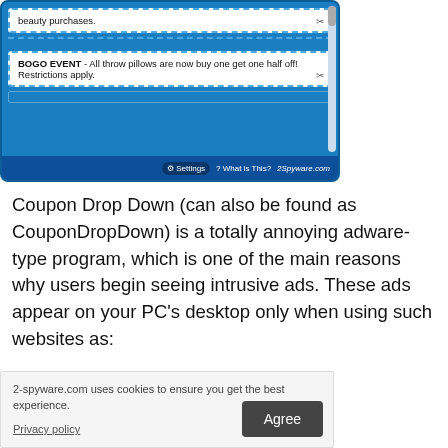[Figure (screenshot): Screenshot of Coupon Drop Down adware interface showing coupon boxes with dashed borders, a BOGO EVENT coupon for throw pillows, settings and 'What is This?' buttons at the bottom, with 2spyware.com watermark]
Coupon Drop Down (can also be found as CouponDropDown) is a totally annoying adware-type program, which is one of the main reasons why users begin seeing intrusive ads. These ads appear on your PC's desktop only when using such websites as:
2-spyware.com uses cookies to ensure you get the best experience.
Privacy policy
Agree